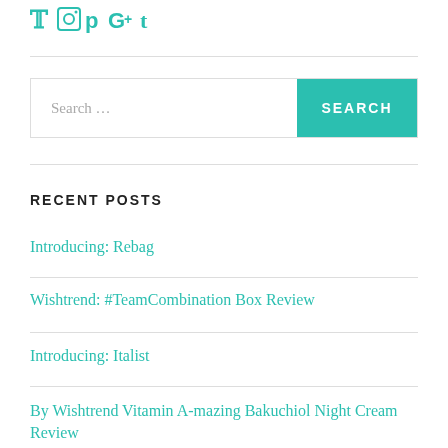[Figure (logo): Social media icons in teal color: Twitter, Instagram, Pinterest, Google+, Tumblr]
Search ...
RECENT POSTS
Introducing: Rebag
Wishtrend: #TeamCombination Box Review
Introducing: Italist
By Wishtrend Vitamin A-mazing Bakuchiol Night Cream Review